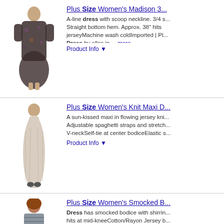[Figure (photo): Woman wearing a dark floral print A-line dress with 3/4 sleeves and scoop neckline]
Plus Size Women's Madison 3... A-line dress with scoop neckline. 3/4 s... Straight bottom hem. Approx. 38" hits jerseyMachine wash coldImported | Pl... Dress by ellos in ... more Product Info ▼
[Figure (photo): Woman wearing a light grey/beige floral knit maxi dress with spaghetti straps]
Plus Size Women's Knit Maxi D... A sun-kissed maxi in flowing jersey kni... Adjustable spaghetti straps and stretch... V-neckSelf-tie at center bodiceElastic s... Product Info ▼
[Figure (photo): Woman wearing a grey smocked bodice tank dress, knee-length]
Plus Size Women's Smocked B... Dress has smocked bodice with shirrin... hits at mid-kneeCotton/Rayon Jersey b... Women's Smocked Bodice Tank Dres... ... more Product Info ▼
[Figure (photo): Woman wearing a teal/green floral fit and flare dress with scoop neckline]
Plus Size Women's Fit and Fla... A flair for flare! A flattering silhouette th... Fit & flare silhouetteScoop necklineFro... seamsBack center seamApprox. 42" h... Product Info ▼
[Figure (photo): Woman wearing a knit tank top, partial view]
Plus Size Women's Knit Tank...